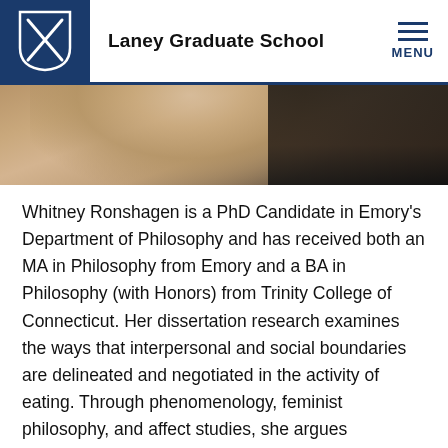Laney Graduate School
[Figure (photo): Partial photo showing a person with long blonde/brown hair against a dark background, cropped at top of page]
Whitney Ronshagen is a PhD Candidate in Emory's Department of Philosophy and has received both an MA in Philosophy from Emory and a BA in Philosophy (with Honors) from Trinity College of Connecticut. Her dissertation research examines the ways that interpersonal and social boundaries are delineated and negotiated in the activity of eating. Through phenomenology, feminist philosophy, and affect studies, she argues specifically for the critical role of affect in commensality. This project represents Whitney's broader interests in philosophies of embodiment, feminisms, affects, and ethics, particularly in the ways that everyday practices